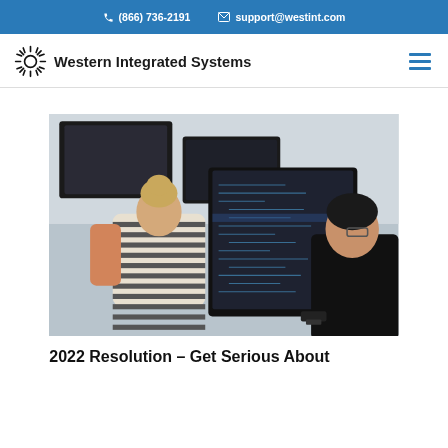📞 (866) 736-2191   ✉ support@westint.com
[Figure (logo): Western Integrated Systems logo with sunburst icon and company name, plus hamburger menu icon]
[Figure (photo): Two people sitting at computer workstations viewed from behind, looking at monitors displaying code. One person has blond hair in a bun wearing a striped shirt; the other is a dark-haired person in a black turtleneck with glasses.]
2022 Resolution – Get Serious About